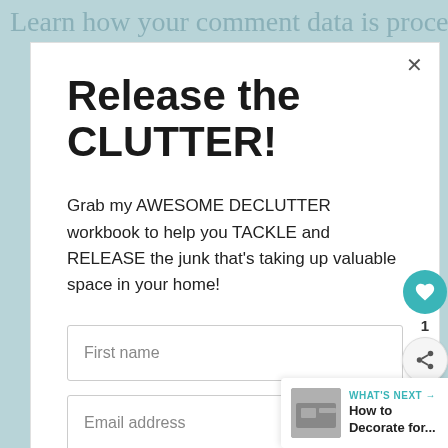Learn how your comment data is processed.
Release the CLUTTER!
Grab my AWESOME DECLUTTER workbook to help you TACKLE and RELEASE the junk that's taking up valuable space in your home!
First name
Email address
GET MY WORKBOOK NOW!
WHAT'S NEXT → How to Decorate for...